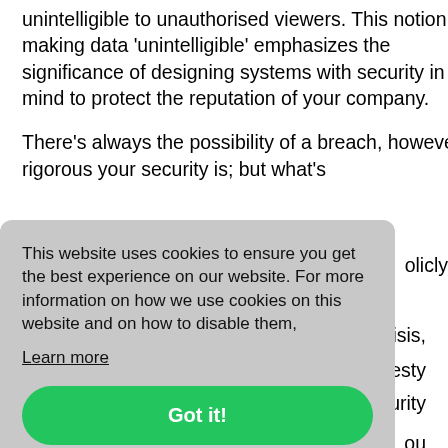unintelligible to unauthorised viewers. This notion of making data 'unintelligible' emphasizes the significance of designing systems with security in mind to protect the reputation of your company.
There's always the possibility of a breach, however rigorous your security is; but what's ...olicly ...irisis, ...esty ...urity ...ou ...n your brand. Ultimately, it's the SMEs'
This website uses cookies to ensure you get the best experience on our website. For more information on how we use cookies on this website and on how to disable them,
Learn more
Got it!